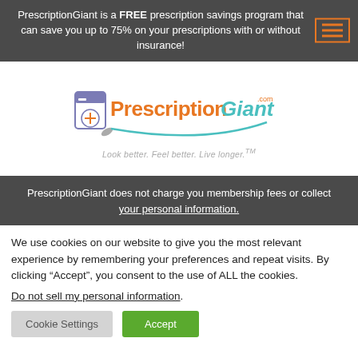PrescriptionGiant is a FREE prescription savings program that can save you up to 75% on your prescriptions with or without insurance!
[Figure (logo): PrescriptionGiant.com logo with pill bottle illustration and tagline 'Look better. Feel better. Live longer.TM']
PrescriptionGiant does not charge you membership fees or collect your personal information.
We use cookies on our website to give you the most relevant experience by remembering your preferences and repeat visits. By clicking “Accept”, you consent to the use of ALL the cookies.
Do not sell my personal information.